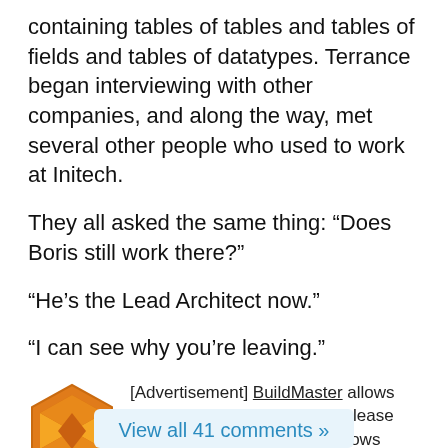containing tables of tables and tables of fields and tables of datatypes. Terrance began interviewing with other companies, and along the way, met several other people who used to work at Initech.
They all asked the same thing: “Does Boris still work there?”
“He’s the Lead Architect now.”
“I can see why you’re leaving.”
[Advertisement] BuildMaster allows you to create a self-service release management platform that allows different teams to manage their applications. Explore how!
View all 41 comments »